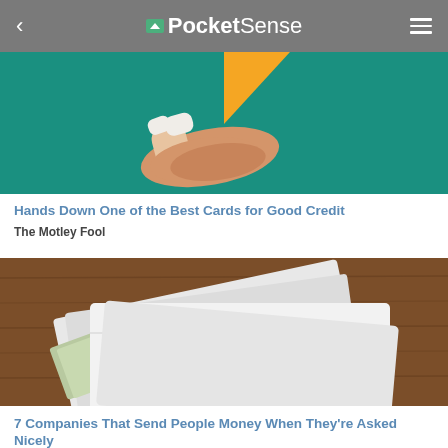PocketSense
[Figure (photo): A hand with bandaged fingers held open against a green background with a yellow triangle shape, illustrating a credit card advertisement]
Hands Down One of the Best Cards for Good Credit
The Motley Fool
[Figure (photo): White envelopes with cash/US dollar bills visible through window on a wooden table background, illustrating companies that send money]
7 Companies That Send People Money When They're Asked Nicely